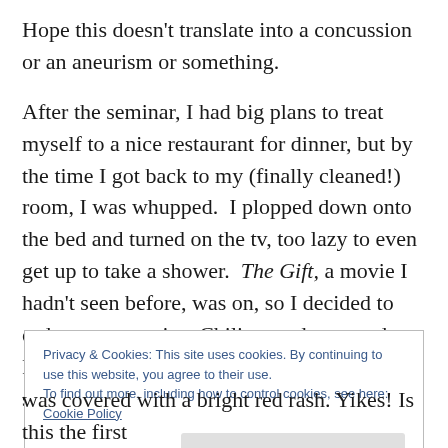Hope this doesn't translate into a concussion or an aneurism or something.
After the seminar, I had big plans to treat myself to a nice restaurant for dinner, but by the time I got back to my (finally cleaned!) room, I was whupped.  I plopped down onto the bed and turned on the tv, too lazy to even get up to take a shower.  The Gift, a movie I hadn't seen before, was on, so I decided to order room service. Chili-seared tuna and a French dip came in 20 minutes and I was starving.
Privacy & Cookies: This site uses cookies. By continuing to use this website, you agree to their use.
To find out more, including how to control cookies, see here: Cookie Policy
was covered with a bright red rash. Yikes! Is this the first